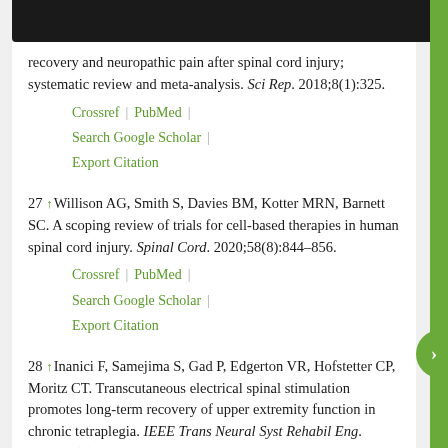recovery and neuropathic pain after spinal cord injury; systematic review and meta-analysis. Sci Rep. 2018;8(1):325.
Crossref | PubMed | Search Google Scholar | Export Citation
27 ↑ Willison AG, Smith S, Davies BM, Kotter MRN, Barnett SC. A scoping review of trials for cell-based therapies in human spinal cord injury. Spinal Cord. 2020;58(8):844–856.
Crossref | PubMed | Search Google Scholar | Export Citation
28 ↑ Inanici F, Samejima S, Gad P, Edgerton VR, Hofstetter CP, Moritz CT. Transcutaneous electrical spinal stimulation promotes long-term recovery of upper extremity function in chronic tetraplegia. IEEE Trans Neural Syst Rehabil Eng. 2018;26(6):1272–1278.